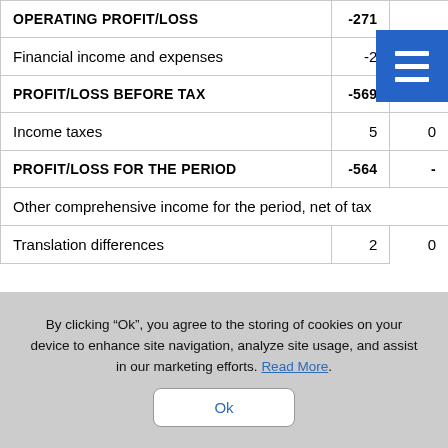|  |  |  |
| --- | --- | --- |
| OPERATING PROFIT/LOSS | -271 | - |
| Financial income and expenses | -2 | - |
| PROFIT/LOSS BEFORE TAX | -569 | - |
| Income taxes | 5 | 0 |
| PROFIT/LOSS FOR THE PERIOD | -564 | - |
| Other comprehensive income for the period, net of tax |  |  |
| Translation differences | 2 | 0 |
By clicking “Ok”, you agree to the storing of cookies on your device to enhance site navigation, analyze site usage, and assist in our marketing efforts. Read More.